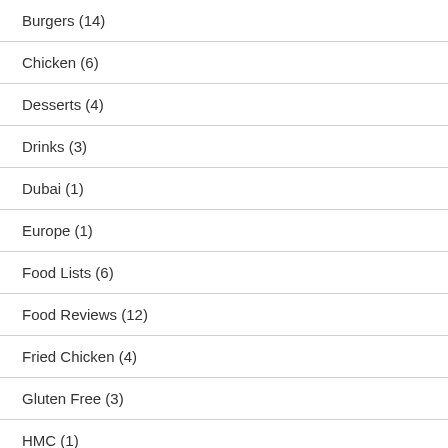Burgers (14)
Chicken (6)
Desserts (4)
Drinks (3)
Dubai (1)
Europe (1)
Food Lists (6)
Food Reviews (12)
Fried Chicken (4)
Gluten Free (3)
HMC (1)
Humanity (1)
Korean (1)